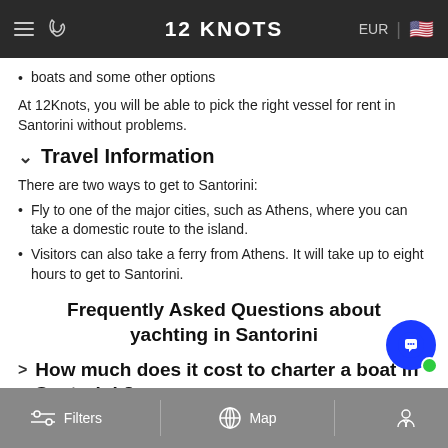12 KNOTS
boats and some other options
At 12Knots, you will be able to pick the right vessel for rent in Santorini without problems.
Travel Information
There are two ways to get to Santorini:
Fly to one of the major cities, such as Athens, where you can take a domestic route to the island.
Visitors can also take a ferry from Athens. It will take up to eight hours to get to Santorini.
Frequently Asked Questions about yachting in Santorini
How much does it cost to charter a boat in Santorini ?
Filters | Map